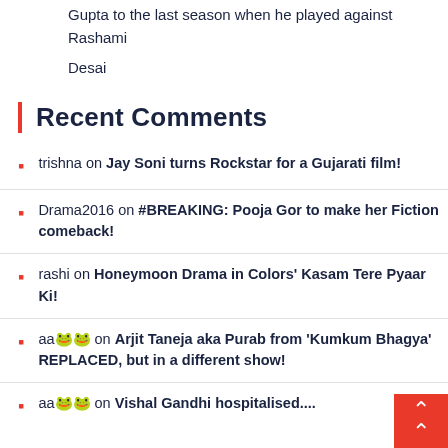Gupta to the last season when he played against Rashami Desai
Recent Comments
trishna on Jay Soni turns Rockstar for a Gujarati film!
Drama2016 on #BREAKING: Pooja Gor to make her Fiction comeback!
rashi on Honeymoon Drama in Colors' Kasam Tere Pyaar Ki!
aa🌸🌸 on Arjit Taneja aka Purab from 'Kumkum Bhagya' REPLACED, but in a different show!
aa🌸🌸 on Vishal Gandhi hospitalised....